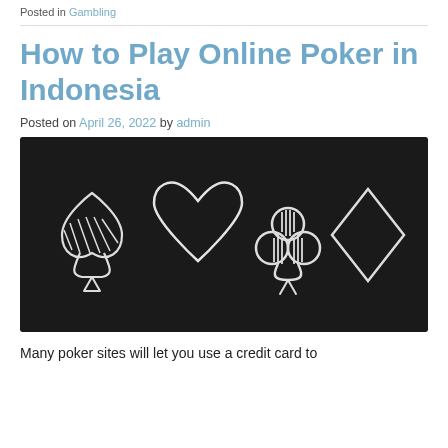Posted in Gambling
How to Play Online Poker in Indonesia
Posted on April 26, 2022 by admin
[Figure (photo): Dark chalkboard background with four hand-drawn playing card suit symbols: spade, heart, club, and diamond drawn in white chalk style.]
Many poker sites will let you use a credit card to